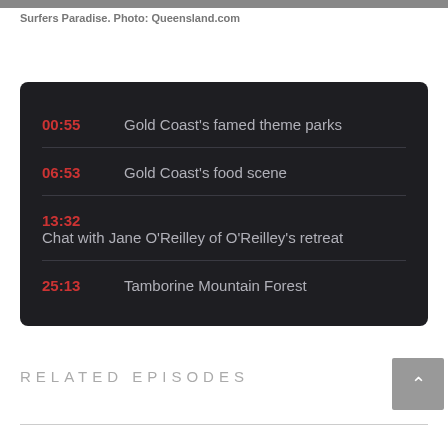[Figure (photo): Top edge of a photo of Surfers Paradise]
Surfers Paradise. Photo: Queensland.com
00:55   Gold Coast's famed theme parks
06:53   Gold Coast's food scene
13:32   Chat with Jane O'Reilley of O'Reilley's retreat
25:13   Tamborine Mountain Forest
RELATED EPISODES